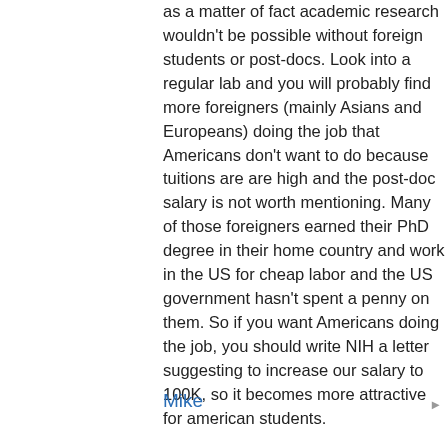as a matter of fact academic research wouldn't be possible without foreign students or post-docs. Look into a regular lab and you will probably find more foreigners (mainly Asians and Europeans) doing the job that Americans don't want to do because tuitions are are high and the post-doc salary is not worth mentioning. Many of those foreigners earned their PhD degree in their home country and work in the US for cheap labor and the US government hasn't spent a penny on them. So if you want Americans doing the job, you should write NIH a letter suggesting to increase our salary to 100K, so it becomes more attractive for american students.
Mike